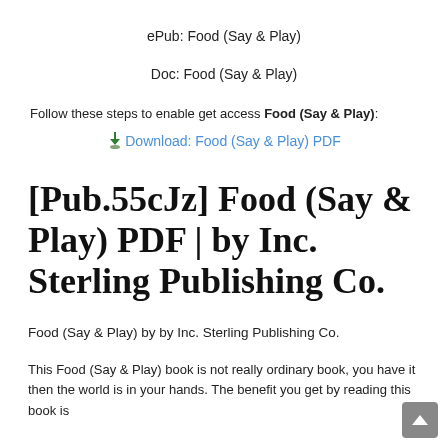ePub: Food (Say & Play)
Doc: Food (Say & Play)
Follow these steps to enable get access Food (Say & Play):
⬇Download: Food (Say & Play) PDF
[Pub.55cJz] Food (Say & Play) PDF | by Inc. Sterling Publishing Co.
Food (Say & Play) by by Inc. Sterling Publishing Co.
This Food (Say & Play) book is not really ordinary book, you have it then the world is in your hands. The benefit you get by reading this book is